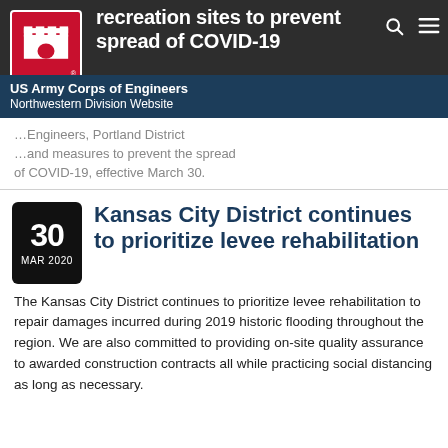recreation sites to prevent spread of COVID-19
US Army Corps of Engineers Northwestern Division Website
of COVID-19, effective March 30.
Kansas City District continues to prioritize levee rehabilitation
The Kansas City District continues to prioritize levee rehabilitation to repair damages incurred during 2019 historic flooding throughout the region. We are also committed to providing on-site quality assurance to awarded construction contracts all while practicing social distancing as long as necessary.